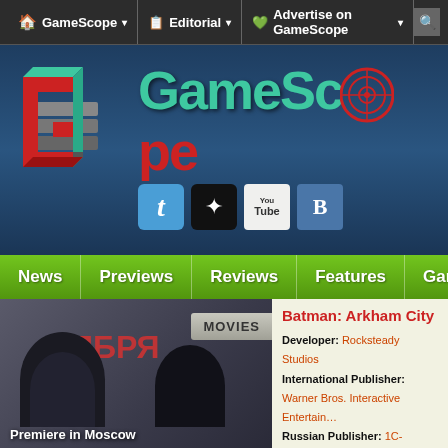GameScope | Editorial | Advertise on GameScope
[Figure (logo): GameScope website logo with 3D stacked G icon and GameScope brand text with target crosshair]
[Figure (screenshot): Navigation bar with social media icons: Twitter, star, YouTube, VK]
News | Previews | Reviews | Features | Games
[Figure (photo): MOVIES section photo showing Premiere in Moscow event with two people on stage and Cyrillic textЯБРЯ in background]
Premiere in Moscow
Batman: Arkham City
Developer: Rocksteady Studios
International Publisher: Warner Bros. Interactive Entertain...
Russian Publisher: 1C-SoftClub
Official Website: [UK flag]
Genres: Action / Adventure / Stealth / Third-Person
[Figure (photo): Batman: Arkham City game cover art showing Batman logo on grey background]